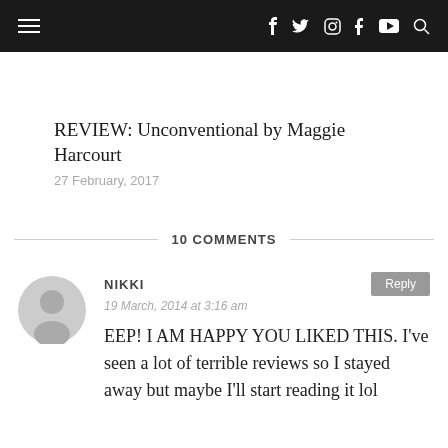Navigation bar with hamburger menu and social icons: f, Twitter, Instagram, Tumblr, YouTube, Search
REVIEW: Unconventional by Maggie Harcourt
27 February, 2017
10 COMMENTS
NIKKI
19 March, 2014 at 3:16 am
EEP! I AM HAPPY YOU LIKED THIS. I've seen a lot of terrible reviews so I stayed away but maybe I'll start reading it lol